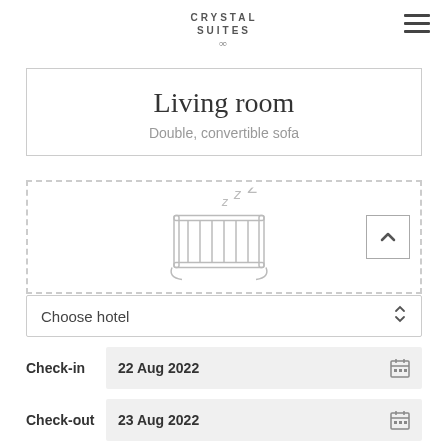CRYSTAL SUITES
Living room
Double, convertible sofa
[Figure (illustration): Crib/cot icon with ZZZ sleep symbols above it, inside a dashed-border section with an expand/collapse chevron button]
Choose hotel
Check-in  22 Aug 2022
Check-out  23 Aug 2022
CHECK AVAILABILITY